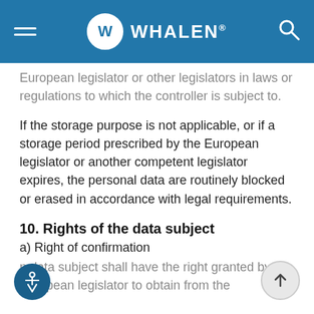WHALEN
European legislator or other legislators in laws or regulations to which the controller is subject to.
If the storage purpose is not applicable, or if a storage period prescribed by the European legislator or another competent legislator expires, the personal data are routinely blocked or erased in accordance with legal requirements.
10. Rights of the data subject
a) Right of confirmation
n data subject shall have the right granted by the European legislator to obtain from the